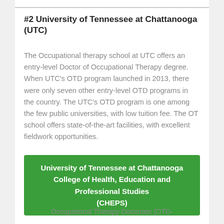#2 University of Tennessee at Chattanooga (UTC)
The Occupational therapy school at UTC offers an entry-level Doctor of Occupational Therapy degree. When UTC's OTD program launched in 2013, there were only seven other entry-level OTD programs in the country. The UTC's OTD program is one among the few public universities, with low tuition fee. The OT school offers state-of-the-art facilities, with excellent fieldwork opportunities.
University of Tennessee at Chattanooga
College of Health, Education and Professional Studies
(CHEPS)
Occupational Therapy Doctorate (OTD-